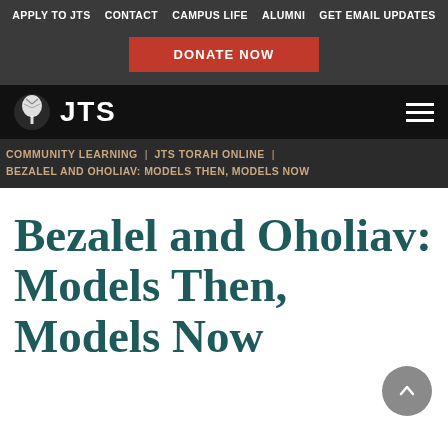APPLY TO JTS  CONTACT  CAMPUS LIFE  ALUMNI  GET EMAIL UPDATES
DONATE NOW
JTS
COMMUNITY LEARNING  JTS TORAH ONLINE  BEZALEL AND OHOLIAV: MODELS THEN, MODELS NOW
Bezalel and Oholiav: Models Then, Models Now